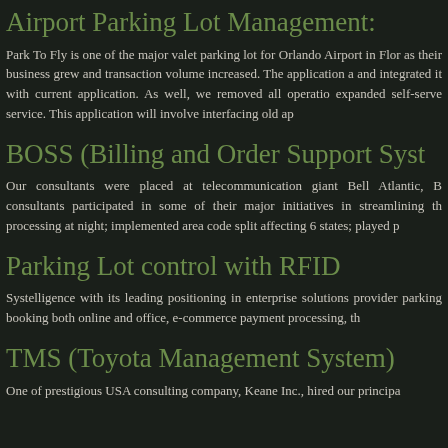Airport Parking Lot Management:
Park To Fly is one of the major valet parking lot for Orlando Airport in Florida. As their business grew and transaction volume increased. The application and integrated it with current application. As well, we removed all operations expanded self-serve service. This application will involve interfacing old ap
BOSS (Billing and Order Support Syst
Our consultants were placed at telecommunication giant Bell Atlantic, B consultants participated in some of their major initiatives in streamlining th processing at night; implemented area code split affecting 6 states; played p
Parking Lot control with RFID
Systelligence with its leading positioning in enterprise solutions provider parking booking both online and office, e-commerce payment processing, th
TMS (Toyota Management System)
One of prestigious USA consulting company, Keane Inc., hired our principa